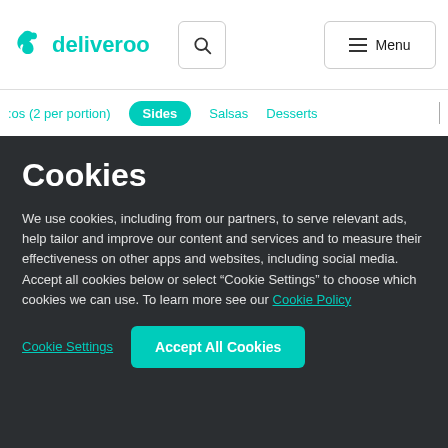deliveroo
cos (2 per portion)   Sides   Salsas   Desserts
Cookies
We use cookies, including from our partners, to serve relevant ads, help tailor and improve our content and services and to measure their effectiveness on other apps and websites, including social media. Accept all cookies below or select “Cookie Settings” to choose which cookies we can use. To learn more see our Cookie Policy
Cookie Settings
Accept All Cookies